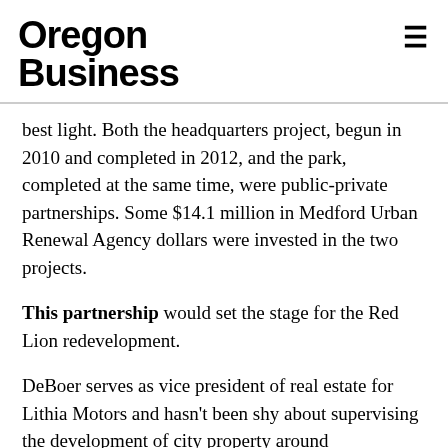Oregon Business
best light. Both the headquarters project, begun in 2010 and completed in 2012, and the park, completed at the same time, were public-private partnerships. Some $14.1 million in Medford Urban Renewal Agency dollars were invested in the two projects.
This partnership would set the stage for the Red Lion redevelopment.
DeBoer serves as vice president of real estate for Lithia Motors and hasn't been shy about supervising the development of city property around